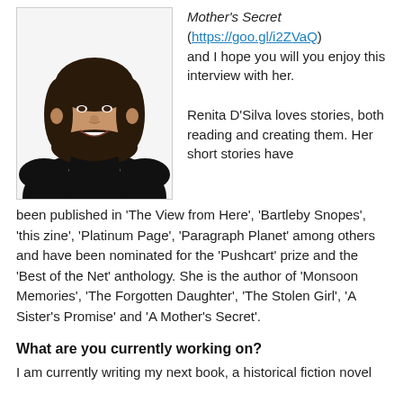[Figure (photo): Portrait photo of Renita D'Silva, a woman with long dark hair wearing a black top and white shirt underneath, smiling at the camera against a white background.]
Mother's Secret (https://goo.gl/i2ZVaQ) and I hope you will you enjoy this interview with her.

Renita D'Silva loves stories, both reading and creating them. Her short stories have been published in 'The View from Here', 'Bartleby Snopes', 'this zine', 'Platinum Page', 'Paragraph Planet' among others and have been nominated for the 'Pushcart' prize and the 'Best of the Net' anthology. She is the author of 'Monsoon Memories', 'The Forgotten Daughter', 'The Stolen Girl', 'A Sister's Promise' and 'A Mother's Secret'.
What are you currently working on?
I am currently writing my next book, a historical fiction novel